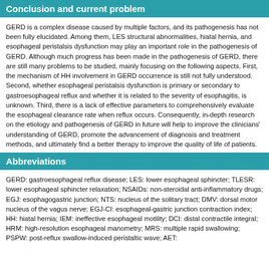Conclusion and current problem
GERD is a complex disease caused by multiple factors, and its pathogenesis has not been fully elucidated. Among them, LES structural abnormalities, hiatal hernia, and esophageal peristalsis dysfunction may play an important role in the pathogenesis of GERD. Although much progress has been made in the pathogenesis of GERD, there are still many problems to be studied, mainly focusing on the following aspects. First, the mechanism of HH involvement in GERD occurrence is still not fully understood. Second, whether esophageal peristalsis dysfunction is primary or secondary to gastroesophageal reflux and whether it is related to the severity of esophagitis, is unknown. Third, there is a lack of effective parameters to comprehensively evaluate the esophageal clearance rate when reflux occurs. Consequently, in-depth research on the etiology and pathogenesis of GERD in future will help to improve the clinicians' understanding of GERD, promote the advancement of diagnosis and treatment methods, and ultimately find a better therapy to improve the quality of life of patients.
Abbreviations
GERD: gastroesophageal reflux disease; LES: lower esophageal sphincter; TLESR: lower esophageal sphincter relaxation; NSAIDs: non-steroidal anti-inflammatory drugs; EGJ: esophagogastric junction; NTS: nucleus of the solitary tract; DMV: dorsal motor nucleus of the vagus nerve; EGJ-CI: esophageal-gastric junction contraction index; HH: hiatal hernia; IEM: ineffective esophageal motility; DCI: distal contractile integral; HRM: high-resolution esophageal manometry; MRS: multiple rapid swallowing; PSPW: post-reflux swallow-induced peristaltic wave; AET: